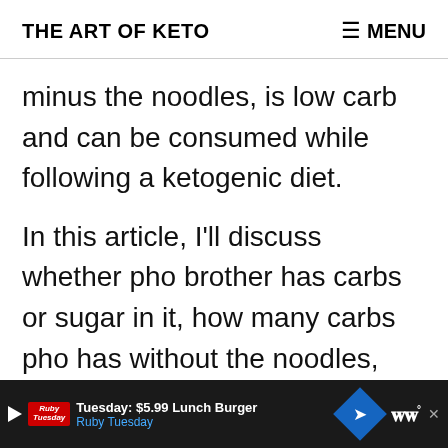THE ART OF KETO   ≡ MENU
minus the noodles, is low carb and can be consumed while following a ketogenic diet.
In this article, I'll discuss whether pho brother has carbs or sugar in it, how many carbs pho has without the noodles, other keto friendly Vietnamese o
[Figure (screenshot): Advertisement bar for Ruby Tuesday: Tuesday: $5.99 Lunch Burger, Ruby Tuesday, with navigation arrow icon and WW logo]